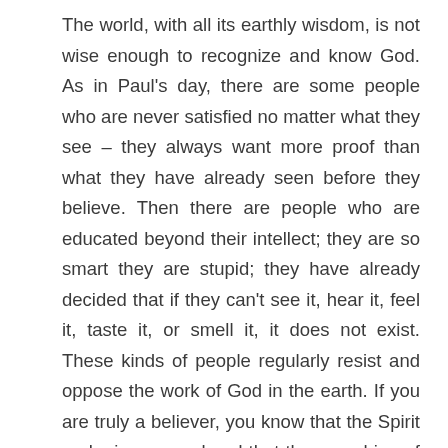The world, with all its earthly wisdom, is not wise enough to recognize and know God. As in Paul's day, there are some people who are never satisfied no matter what they see – they always want more proof than what they have already seen before they believe. Then there are people who are educated beyond their intellect; they are so smart they are stupid; they have already decided that if they can't see it, hear it, feel it, taste it, or smell it, it does not exist. These kinds of people regularly resist and oppose the work of God in the earth. If you are truly a believer, you know that the Spirit realm is very real and that the preaching of the gospel is not foolishness, but it is the power of God and the wisdom of God. It has the power to radically and positively transform lives.